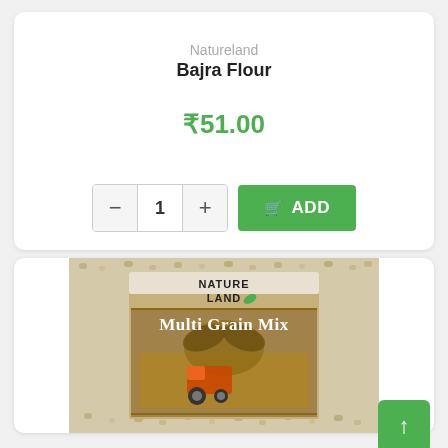Natureland
Bajra Flour
₹51.00
[Figure (screenshot): Quantity selector showing minus button, 1, plus button, and a green ADD button with cart icon]
[Figure (photo): Natureland Multi Grain Mix product package with grain texture background and farm scene illustration]